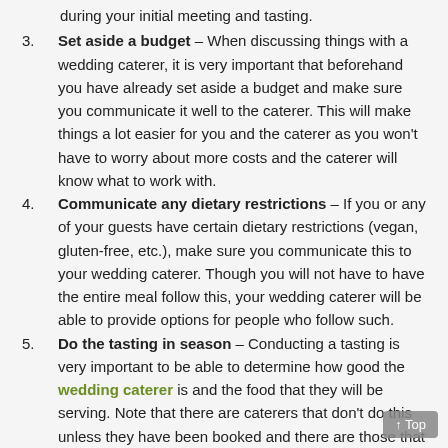3. Set aside a budget – When discussing things with a wedding caterer, it is very important that beforehand you have already set aside a budget and make sure you communicate it well to the caterer. This will make things a lot easier for you and the caterer as you won't have to worry about more costs and the caterer will know what to work with.
4. Communicate any dietary restrictions – If you or any of your guests have certain dietary restrictions (vegan, gluten-free, etc.), make sure you communicate this to your wedding caterer. Though you will not have to have the entire meal follow this, your wedding caterer will be able to provide options for people who follow such.
5. Do the tasting in season – Conducting a tasting is very important to be able to determine how good the wedding caterer is and the food that they will be serving. Note that there are caterers that don't do this unless they have been booked and there are those that charge additional for the tasting. When you do a tasting, make sure that you do so in season. This means that the ingredients used to